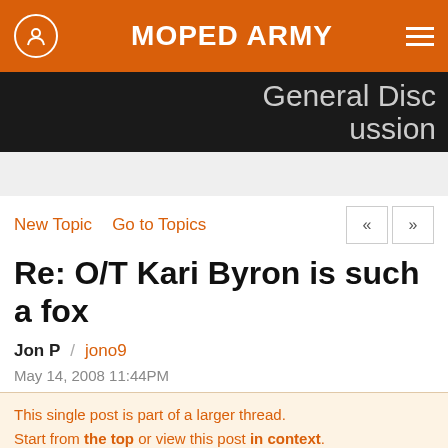MOPED ARMY
General Discussion
New Topic   Go to Topics
Re: O/T Kari Byron is such a fox
Jon P / jono9
May 14, 2008 11:44PM
This single post is part of a larger thread. Start from the top or view this post in context.